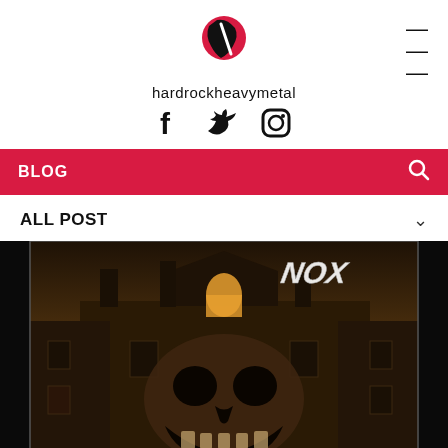[Figure (logo): hardrockheavymetal website logo — red and black guitar pick/rocket icon above the site name 'hardrockheavymetal', with social icons (Facebook, Twitter, Instagram) below and a hamburger menu icon top-right]
BLOG
ALL POST
[Figure (photo): Album cover art with a dark gothic building/haunted house, a large demonic skull in the foreground, moody dark brown tones, and a band logo in the top-right corner in metallic lettering]